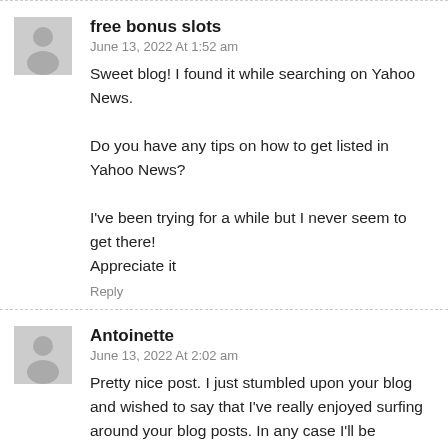free bonus slots
June 13, 2022 At 1:52 am
Sweet blog! I found it while searching on Yahoo News.
Do you have any tips on how to get listed in Yahoo News?

I've been trying for a while but I never seem to get there!
Appreciate it
Reply
Antoinette
June 13, 2022 At 2:02 am
Pretty nice post. I just stumbled upon your blog and wished to say that I've really enjoyed surfing around your blog posts. In any case I'll be